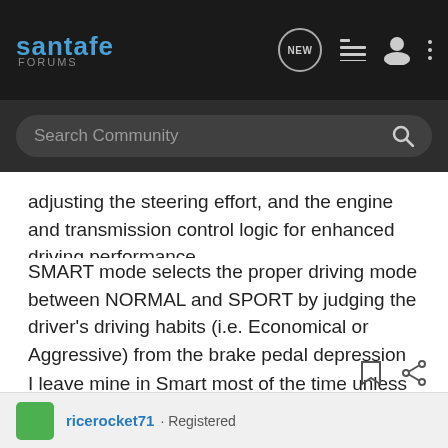santafe FORUMS
Search Community
adjusting the steering effort, and the engine and transmission control logic for enhanced driving performance.
SMART mode selects the proper driving mode between NORMAL and SPORT by judging the driver's driving habits (i.e. Economical or Aggressive) from the brake pedal depression or the steering wheel operation.
I leave mine in Smart most of the time unless I'm in rush hour urban freeway I'll switch it to SPORT. Amazing change in performance & handling, but gas mileage is affected big time.
ricerocket71 · Registered